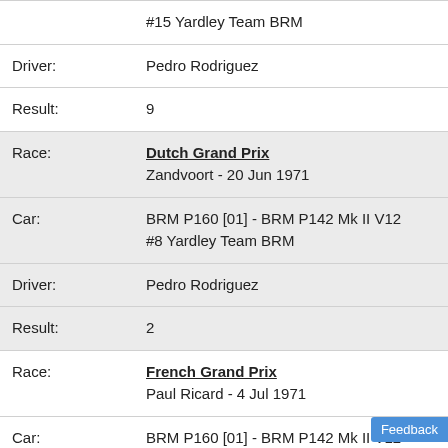| Field | Value |
| --- | --- |
|  | #15 Yardley Team BRM |
| Driver: | Pedro Rodriguez |
| Result: | 9 |
| Race: | Dutch Grand Prix
Zandvoort - 20 Jun 1971 |
| Car: | BRM P160 [01] - BRM P142 Mk II V12
#8 Yardley Team BRM |
| Driver: | Pedro Rodriguez |
| Result: | 2 |
| Race: | French Grand Prix
Paul Ricard - 4 Jul 1971 |
| Car: | BRM P160 [01] - BRM P142 Mk II V12
#15 Yardley Team BRM |
| Driver: | Pedro Rodriguez |